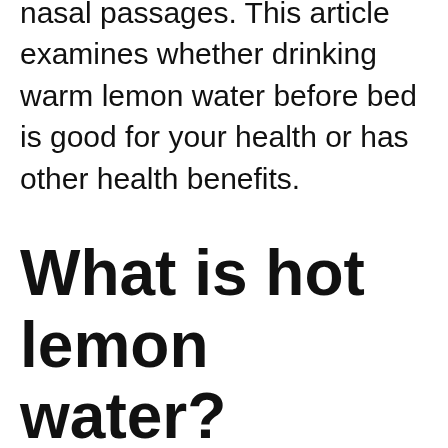nasal passages. This article examines whether drinking warm lemon water before bed is good for your health or has other health benefits.
What is hot lemon water?
It is a mixture of plain water and lemon juice
We use cookies on our website to give you the most relevant experience by remembering your preferences and repeat visits. By clicking “Accept All”, you consent to the use of ALL the cookies. However, you may visit "Cookie Settings" to provide a controlled consent.